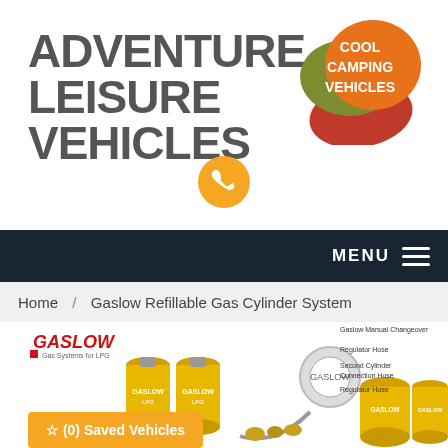[Figure (logo): Adventure Leisure Vehicles logo with grey bold text and Cool Camping Vehicles multi-blob badge in orange, olive, and red with white text]
[Figure (other): Orange circle phone button icon]
MENU
Home / Gaslow Refillable Gas Cylinder System
[Figure (photo): Gaslow refillable LPG gas cylinder system product photo showing yellow cylinders, hoses, regulators, connectors and fittings with diagram labels]
☆ (0) Saved Vehicles